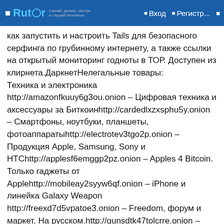Rutor — Вход — Регистр...
как запустить и настроить Tails для безопасного серфинга по грубинному интернету, а также ссылки на открытый мониторинг годноты в ТОР. Доступен из клирнета.ДаркнетНелегальные товары: Техника и электроника http://amazonfkuuy6g3ou.onion – Цифровая техника и аксессуары за Биткоинhttp://cardedlxzxsphu5y.onion – Смартфоны, ноутбуки, планшеты, фотоаппаратыhttp://electrotev3tgo2p.onion – Продукция Apple, Samsung, Sony и HTChttp://applesf6emggp2pz.onion – Apples 4 Bitcoin. Только гаджеты от Applehttp://mobileay2syyw6qf.onion – iPhone и линейка Galaxy Weapon http://freexd7d5vpatoe3.onion – Freedom, форум и маркет. На русском.http://gunsdtk47tolcrre.onion – Английский магазин оружияhttp://5xxqhn7qbtug7cag.onion – Black Market Guns. На английском Валюта http://counter5y4he3hny.onion Фейковые долларыhttp://replicawws2pwjjy.onion Фейковые Евроhttp://counterfxhjvtrlw.onion Почти как настоящие евро и долларыhttp://cfactoryxecooa6l.onion – Контрафактная...